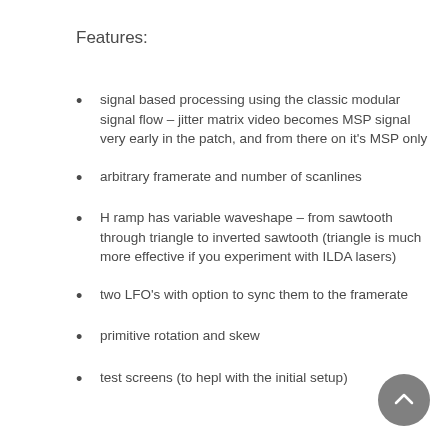Features:
signal based processing using the classic modular signal flow – jitter matrix video becomes MSP signal very early in the patch, and from there on it's MSP only
arbitrary framerate and number of scanlines
H ramp has variable waveshape – from sawtooth through triangle to inverted sawtooth (triangle is much more effective if you experiment with ILDA lasers)
two LFO's with option to sync them to the framerate
primitive rotation and skew
test screens (to hepl with the initial setup)